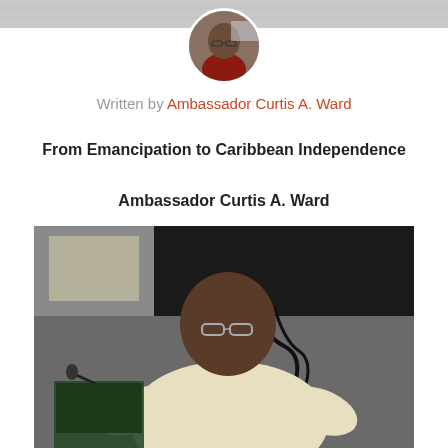[Figure (photo): Top banner strip with a light gray background]
[Figure (photo): Circular avatar photo of Ambassador Curtis A. Ward, an older man wearing glasses and a dark red shirt]
Written by Ambassador Curtis A. Ward
From Emancipation to Caribbean Independence
Ambassador Curtis A. Ward
[Figure (photo): A man (Ambassador Curtis A. Ward) speaking at a lectern, gesturing with both hands, wearing a light-colored shirt, with a dark projection screen and cables visible in the background]